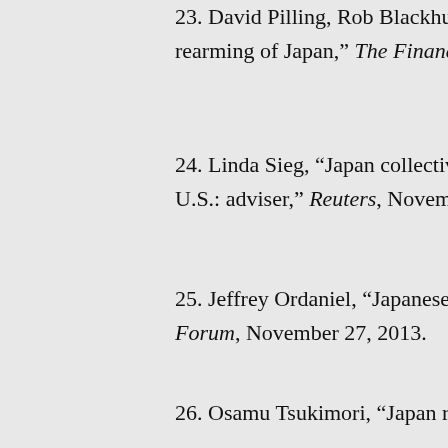23. David Pilling, Rob Blackhurst and Jonathan Soble, “Philippines backs rearming of Japan,” The Financial Times, December 9, 2012.
24. Linda Sieg, “Japan collective self-defense should include others, not just U.S.: adviser,” Reuters, November 6, 2013.
25. Jeffrey Ordaniel, “Japanese troops return to the Philippines,” East Asia Forum, November 27, 2013.
26. Osamu Tsukimori, “Japan readies 1,000 troops, naval ships...